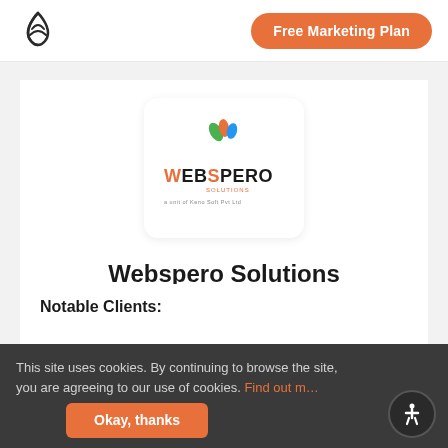[Figure (logo): Semrush flame/droplet logo icon in top left nav]
Free Marketing Plan
[Figure (logo): Webspero Solutions company logo — colorful bird/leaf graphic above WEBSPERO SOLUTIONS text, 'a unit of Keno Soft Pvt Ltd' tagline]
Webspero Solutions
webspero.com
Notable Clients:
This site uses cookies. By continuing to browse the site, you are agreeing to our use of cookies. Find out m…
Okay, thanks